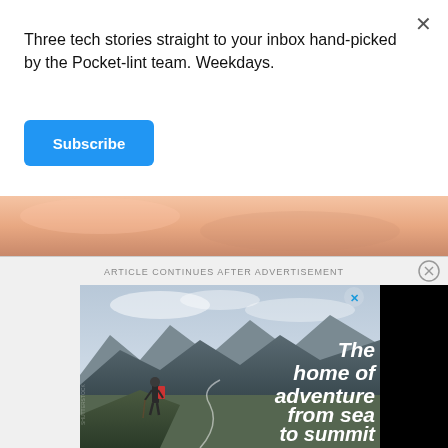Three tech stories straight to your inbox hand-picked by the Pocket-lint team. Weekdays.
Subscribe
[Figure (photo): Close-up skin/body image strip]
ARTICLE CONTINUES AFTER ADVERTISEMENT
[Figure (photo): Advertisement for The Gear Loop showing a hiker on a mountain summit with text 'The home of adventure from sea to summit' and The Gear Loop logo]